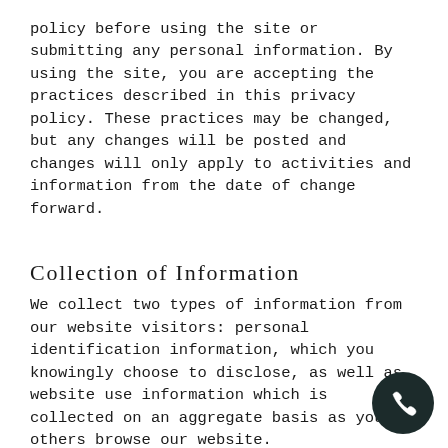policy before using the site or submitting any personal information. By using the site, you are accepting the practices described in this privacy policy. These practices may be changed, but any changes will be posted and changes will only apply to activities and information from the date of change forward.
Collection of Information
We collect two types of information from our website visitors: personal identification information, which you knowingly choose to disclose, as well as website use information which is collected on an aggregate basis as you an others browse our website.
Personal Information
If you choose to do so, you may provide our firm with personally identifiable information such as your name, postal addresses, email addresses, credit card information,